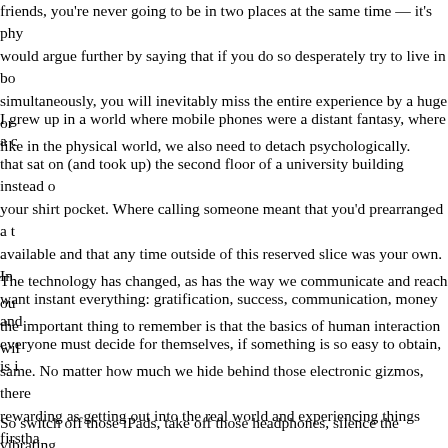friends, you're never going to be in two places at the same time — it's phy would argue further by saying that if you do so desperately try to live in bo simultaneously, you will inevitably miss the entire experience by a huge or like in the physical world, we also need to detach psychologically.
I grew up in a world where mobile phones were a distant fantasy, where a that sat on (and took up) the second floor of a university building instead o your shirt pocket. Where calling someone meant that you'd prearranged a t available and that any time outside of this reserved slice was your own. In want instant everything: gratification, success, communication, money and everyone must decide for themselves, if something is so easy to obtain, is i
The technology has changed, as has the way we communicate and reach ou the important thing to remember is that the basics of human interaction wil same. No matter how much we hide behind those electronic gizmos, there rewarding as getting out into the real world and experiencing things firstha
So switch off those iPads, take off those headphones, silence the vibrating